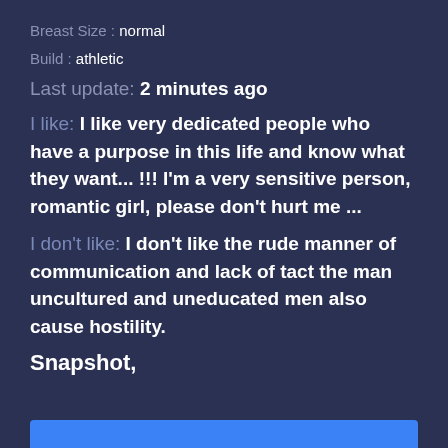Breast Size : normal
Build : athletic
Last update: 2 minutes ago
I like: I like very dedicated people who have a purpose in this life and know what they want... !!! I'm a very sensitive person, romantic girl, please don't hurt me ...
I don't like: I don't like the rude manner of communication and lack of tact the man uncultured and uneducated men also cause hostility.
Snapshot,